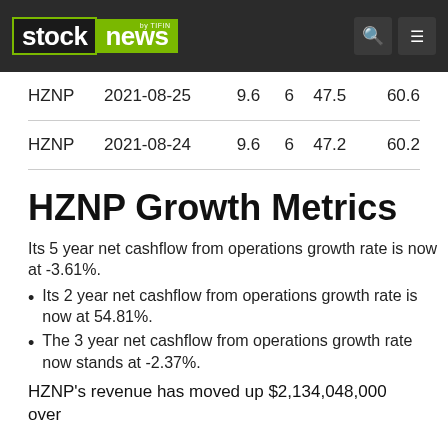stock news by TIFIN
| HZNP | 2021-08-25 | 9.6 | 6 | 47.5 | 60.6 |
| HZNP | 2021-08-24 | 9.6 | 6 | 47.2 | 60.2 |
HZNP Growth Metrics
Its 5 year net cashflow from operations growth rate is now at -3.61%.
Its 2 year net cashflow from operations growth rate is now at 54.81%.
The 3 year net cashflow from operations growth rate now stands at -2.37%.
HZNP's revenue has moved up $2,134,048,000 over